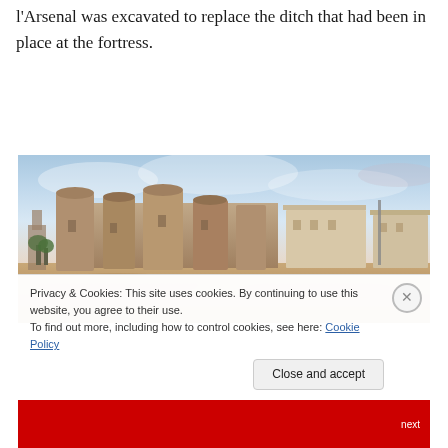l'Arsenal was excavated to replace the ditch that had been in place at the fortress.
[Figure (photo): Historical painting/illustration of a large fortress with round towers and adjacent buildings, viewed from outside, with open ground in the foreground and a partly cloudy sky.]
Privacy & Cookies: This site uses cookies. By continuing to use this website, you agree to their use.
To find out more, including how to control cookies, see here: Cookie Policy